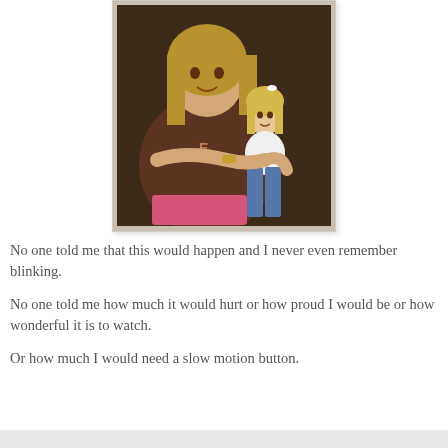[Figure (photo): A young girl holding an American Girl doll, smiling, in a brown t-shirt and pink shorts, seated on a brown leather chair.]
No one told me that this would happen and I never even remember blinking.
No one told me how much it would hurt or how proud I would be or how wonderful it is to watch.
Or how much I would need a slow motion button.